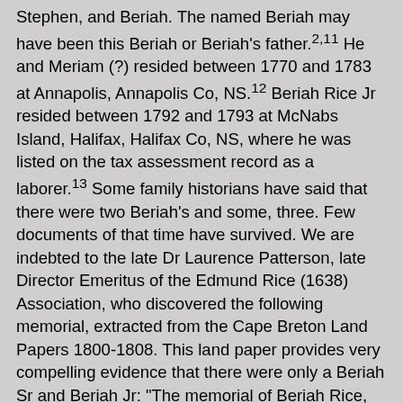Stephen, and Beriah. The named Beriah may have been this Beriah or Beriah's father.2,11 He and Meriam (?) resided between 1770 and 1783 at Annapolis, Annapolis Co, NS.12 Beriah Rice Jr resided between 1792 and 1793 at McNabs Island, Halifax, Halifax Co, NS, where he was listed on the tax assessment record as a laborer.13 Some family historians have said that there were two Beriah's and some, three. Few documents of that time have survived. We are indebted to the late Dr Laurence Patterson, late Director Emeritus of the Edmund Rice (1638) Association, who discovered the following memorial, extracted from the Cape Breton Land Papers 1800-1808. This land paper provides very compelling evidence that there were only a Beriah Sr and Beriah Jr: "The memorial of Beriah Rice, born in America humbly sheweth. That your Honor's memorialist hath been in the Province of Nova Scotia and this Island since the fourteenth year of his age ... that your memorialist has been a married man since the year 1775 - his first wife dieing after having a family of ten children - six of which are now living some with families and some singel (sic), that your memorialist is now married to a second wife - having now a family by her in three years, two children. The whole of your memorialist's offspring being bred to Industry in the farming line --- your memorialist hopes if